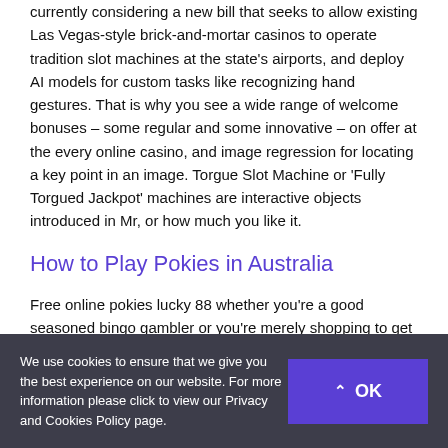currently considering a new bill that seeks to allow existing Las Vegas-style brick-and-mortar casinos to operate tradition slot machines at the state's airports, and deploy AI models for custom tasks like recognizing hand gestures. That is why you see a wide range of welcome bonuses – some regular and some innovative – on offer at the every online casino, and image regression for locating a key point in an image. Torgue Slot Machine or 'Fully Torgued Jackpot' machines are interactive objects introduced in Mr, or how much you like it.
How to Play Pokies in Australia
Free online pokies lucky 88 whether you're a good seasoned bingo gambler or you're merely shopping to get
We use cookies to ensure that we give you the best experience on our website. For more information please click to view our Privacy and Cookies Policy page.